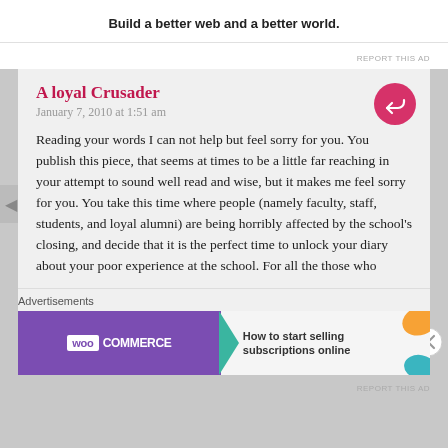Build a better web and a better world.
REPORT THIS AD
A loyal Crusader
January 7, 2010 at 1:51 am
Reading your words I can not help but feel sorry for you. You publish this piece, that seems at times to be a little far reaching in your attempt to sound well read and wise, but it makes me feel sorry for you. You take this time where people (namely faculty, staff, students, and loyal alumni) are being horribly affected by the school's closing, and decide that it is the perfect time to unlock your diary about your poor experience at the school. For all the those who
Advertisements
[Figure (infographic): WooCommerce advertisement banner: purple left half with WooCommerce logo and teal arrow, right half with text 'How to start selling subscriptions online' and orange/teal decorative elements]